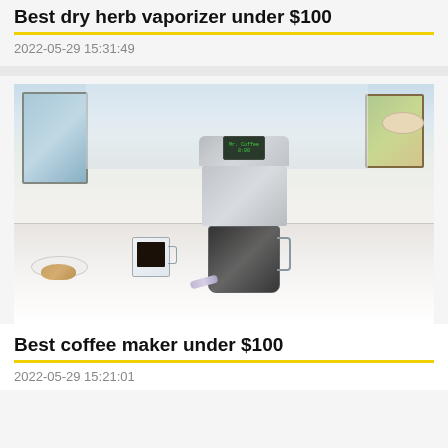Best dry herb vaporizer under $100
2022-05-29 15:31:49
[Figure (photo): A Mr. Coffee branded drip coffee maker on a white kitchen counter, with a glass mug of black coffee, a plate of food, and a bowl of green apples nearby. Bright modern kitchen background with windows.]
Best coffee maker under $100
2022-05-29 15:21:01